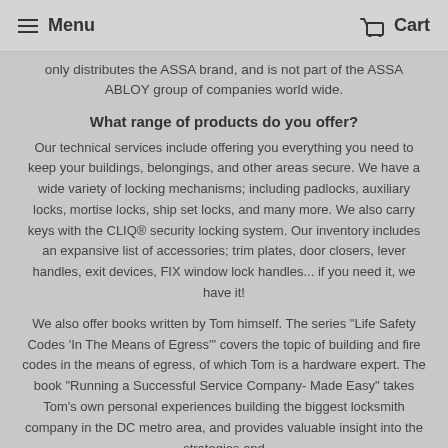Menu   Cart
only distributes the ASSA brand, and is not part of the ASSA ABLOY group of companies world wide.
What range of products do you offer?
Our technical services include offering you everything you need to keep your buildings, belongings, and other areas secure. We have a wide variety of locking mechanisms; including padlocks, auxiliary locks, mortise locks, ship set locks, and many more. We also carry keys with the CLIQ® security locking system. Our inventory includes an expansive list of accessories; trim plates, door closers, lever handles, exit devices, FIX window lock handles... if you need it, we have it!
We also offer books written by Tom himself. The series "Life Safety Codes 'In The Means of Egress'" covers the topic of building and fire codes in the means of egress, of which Tom is a hardware expert. The book "Running a Successful Service Company- Made Easy" takes Tom's own personal experiences building the biggest locksmith company in the DC metro area, and provides valuable insight into the strategies and